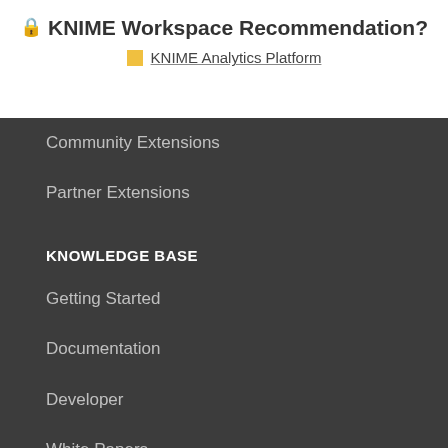🔒 KNIME Workspace Recommendation?
🟨 KNIME Analytics Platform
Community Extensions
Partner Extensions
KNOWLEDGE BASE
Getting Started
Documentation
Developer
White Papers
QUICK LINKS
Download
KNIME Open Source Story
Open for Innovation